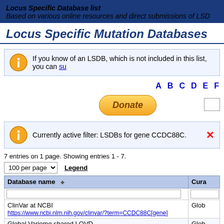Locus Specific Database list
Based on various online resources and direct submissions of LSD
Locus Specific Mutation Databases
If you know of an LSDB, which is not included in this list, you can su
A B C D E F
[Figure (other): PayPal Donate button]
Currently active filter: LSDBs for gene CCDC88C.
7 entries on 1 page. Showing entries 1 - 7.
| Database name | Cura |
| --- | --- |
| ClinVar at NCBI
https://www.ncbi.nlm.nih.gov/clinvar/?term=CCDC88C[gene] | Glob |
| Global Variome shared LOVD | Glob |